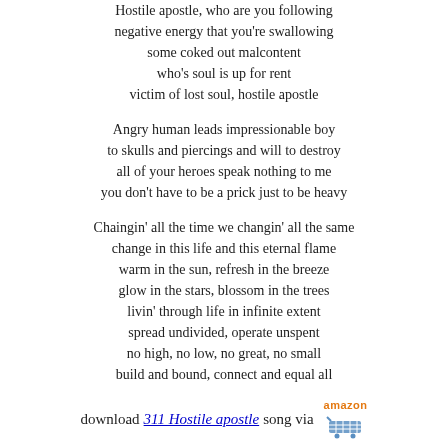Hostile apostle, who are you following
negative energy that you're swallowing
some coked out malcontent
who's soul is up for rent
victim of lost soul, hostile apostle
Angry human leads impressionable boy
to skulls and piercings and will to destroy
all of your heroes speak nothing to me
you don't have to be a prick just to be heavy
Chaingin' all the time we changin' all the same
change in this life and this eternal flame
warm in the sun, refresh in the breeze
glow in the stars, blossom in the trees
livin' through life in infinite extent
spread undivided, operate unspent
no high, no low, no great, no small
build and bound, connect and equal all
download 311 Hostile apostle song via [amazon]
Hostile apostle lyrics
From chaos album songs
1. You get worked
2. Sick tight